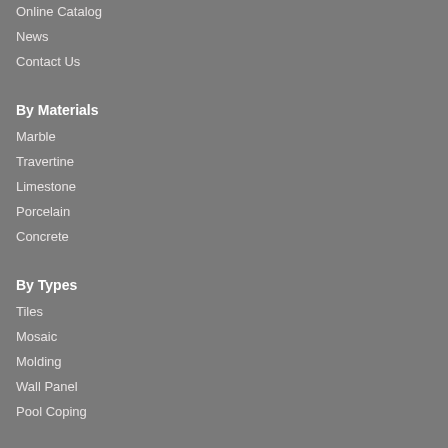Online Catalog
News
Contact Us
By Materials
Marble
Travertine
Limestone
Porcelain
Concrete
By Types
Tiles
Mosaic
Molding
Wall Panel
Pool Coping